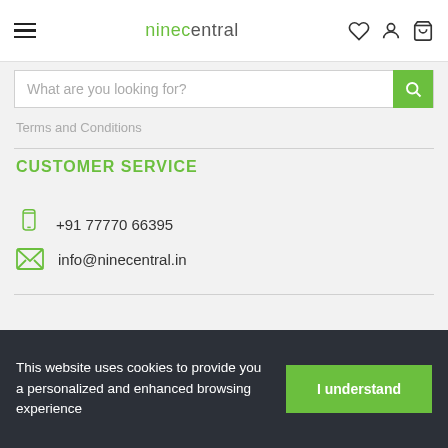ninecentral
What are you looking for?
Terms and Conditions
CUSTOMER SERVICE
+91 77770 66395
info@ninecentral.in
© 2022 NineCentral - India
This website uses cookies to provide you a personalized and enhanced browsing experience